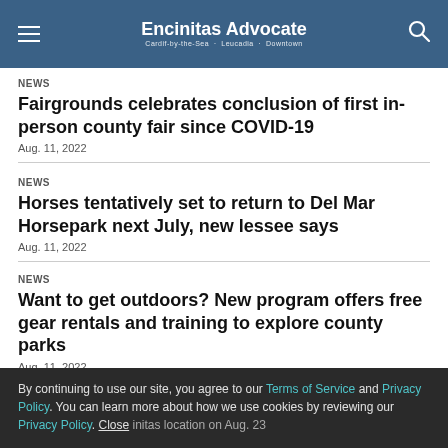Encinitas Advocate
NEWS
Fairgrounds celebrates conclusion of first in-person county fair since COVID-19
Aug. 11, 2022
NEWS
Horses tentatively set to return to Del Mar Horsepark next July, new lessee says
Aug. 11, 2022
NEWS
Want to get outdoors? New program offers free gear rentals and training to explore county parks
Aug. 11, 2022
By continuing to use our site, you agree to our Terms of Service and Privacy Policy. You can learn more about how we use cookies by reviewing our Privacy Policy. Close ... initas location on Aug. 23